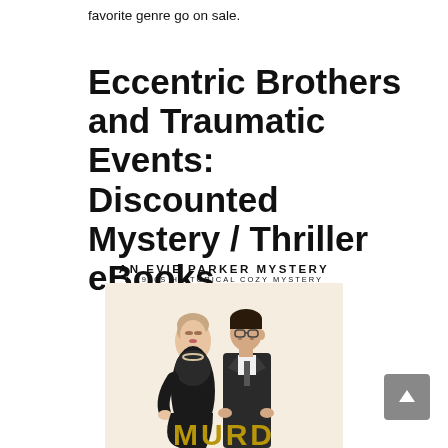favorite genre go on sale.
Eccentric Brothers and Traumatic Events: Discounted Mystery / Thriller eBooks
AN EVIE PARKER MYSTERY
A 1920S HISTORICAL COZY MYSTERY
[Figure (illustration): Book cover illustration showing a 1920s-era woman in black lace dress and a man in a dark suit standing back-to-back, with the word MURDERED partially visible at the bottom in gold letters.]